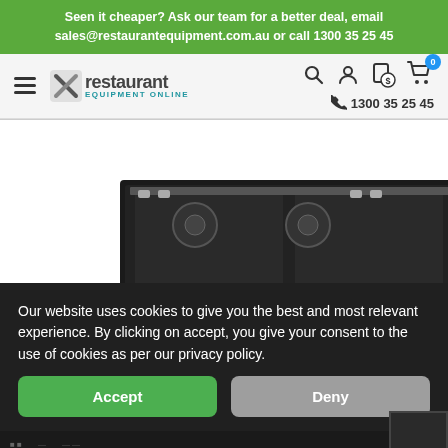Seen it cheaper? Ask our team for a better deal, email sales@restaurantequipment.com.au or call 1300 35 25 45
[Figure (logo): Restaurant Equipment Online logo with X icon]
1300 35 25 45
[Figure (photo): Commercial gas cooktop/range product image on white background]
Our website uses cookies to give you the best and most relevant experience. By clicking on accept, you give your consent to the use of cookies as per our privacy policy.
Accept
Deny